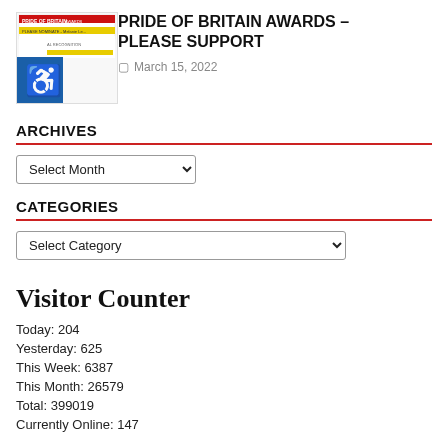[Figure (screenshot): Pride of Britain Awards thumbnail image with accessibility badge overlay]
PRIDE OF BRITAIN AWARDS – PLEASE SUPPORT
March 15, 2022
ARCHIVES
Select Month (dropdown)
CATEGORIES
Select Category (dropdown)
Visitor Counter
Today: 204
Yesterday: 625
This Week: 6387
This Month: 26579
Total: 399019
Currently Online: 147